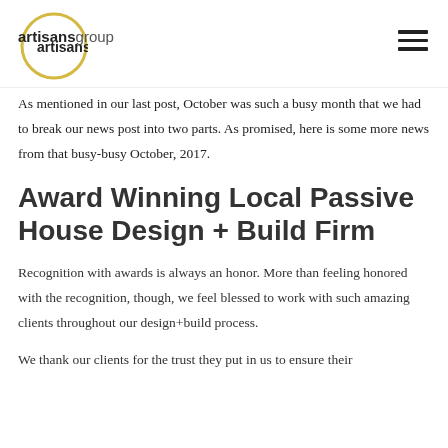artisansgroup
As mentioned in our last post, October was such a busy month that we had to break our news post into two parts.  As promised, here is some more news from that busy-busy October, 2017.
Award Winning Local Passive House Design + Build Firm
Recognition with awards is always an honor.  More than feeling honored with the recognition, though, we feel blessed to work with such amazing clients throughout our design+build process.
We thank our clients for the trust they put in us to ensure their